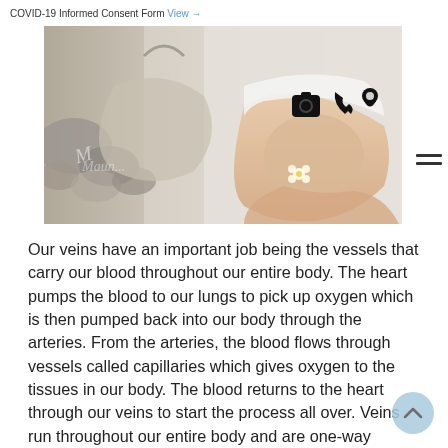COVID-19 Informed Consent Form View →
[Figure (photo): A person sitting on a sandy surface with bare legs and a flower, a spa/wellness themed hero image with clinic logo overlay and navigation icons (camera, phone, location pin)]
Our veins have an important job being the vessels that carry our blood throughout our entire body. The heart pumps the blood to our lungs to pick up oxygen which is then pumped back into our body through the arteries. From the arteries, the blood flows through vessels called capillaries which gives oxygen to the tissues in our body. The blood returns to the heart through our veins to start the process all over. Veins run throughout our entire body and are one-way valves that help keep blood flowing to our hearts. When they become blocked, weak, or damaged then blood begins to pool